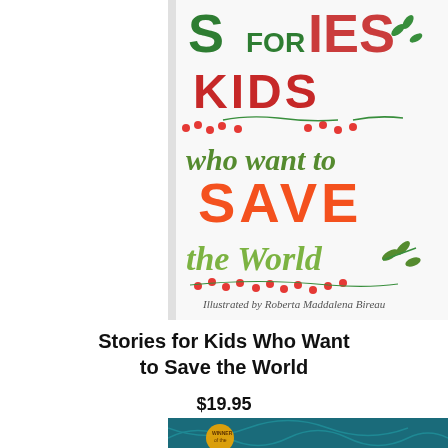[Figure (illustration): Book cover of 'Stories for Kids Who Want to Save the World', illustrated by Roberta Maddalena Bireau. Colorful lettering in green, red, and orange with floral/leaf decorations on a white background.]
Stories for Kids Who Want to Save the World
$19.95
[Figure (illustration): Partial view of another book cover with teal/blue tones and a 'Winner of the...' medallion badge.]